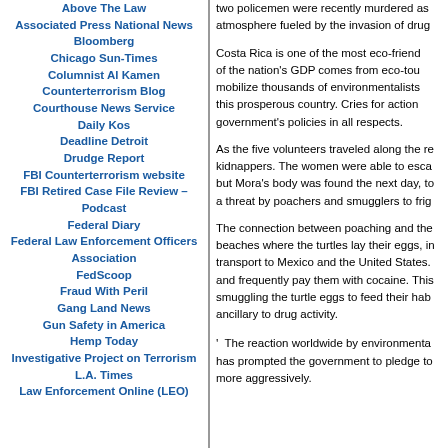Above The Law
Associated Press National News
Bloomberg
Chicago Sun-Times
Columnist Al Kamen
Counterterrorism Blog
Courthouse News Service
Daily Kos
Deadline Detroit
Drudge Report
FBI Counterterrorism website
FBI Retired Case File Review – Podcast
Federal Diary
Federal Law Enforcement Officers Association
FedScoop
Fraud With Peril
Gang Land News
Gun Safety in America
Hemp Today
Investigative Project on Terrorism
L.A. Times
Law Enforcement Online (LEO)
two policemen were recently murdered as atmosphere fueled by the invasion of drug
Costa Rica is one of the most eco-friendly of the nation's GDP comes from eco-tourism, mobilize thousands of environmentalists, this prosperous country. Cries for action government's policies in all respects.
As the five volunteers traveled along the remote coast, they were ambushed by kidnappers. The women were able to escape but Mora's body was found the next day, to a threat by poachers and smugglers to frighten off activists.
The connection between poaching and the beaches where the turtles lay their eggs, in transport to Mexico and the United States. and frequently pay them with cocaine. This smuggling the turtle eggs to feed their habit ancillary to drug activity.
The reaction worldwide by environmentalists has prompted the government to pledge to more aggressively.